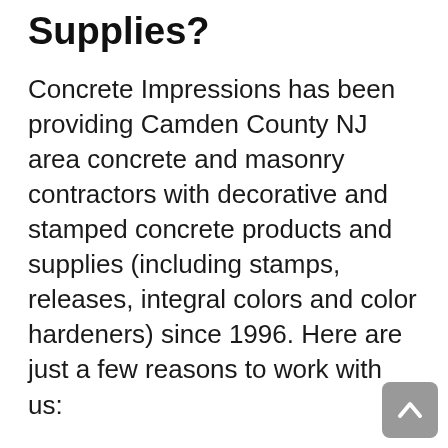Supplies?
Concrete Impressions has been providing Camden County NJ area concrete and masonry contractors with decorative and stamped concrete products and supplies (including stamps, releases, integral colors and color hardeners) since 1996. Here are just a few reasons to work with us:
We provide a FULL LINE of supplies for stamped and decorative concrete, and we are an authorized distributor for many concrete product
[Figure (other): Scroll-to-top button in bottom right corner, grey rounded square with upward arrow icon]